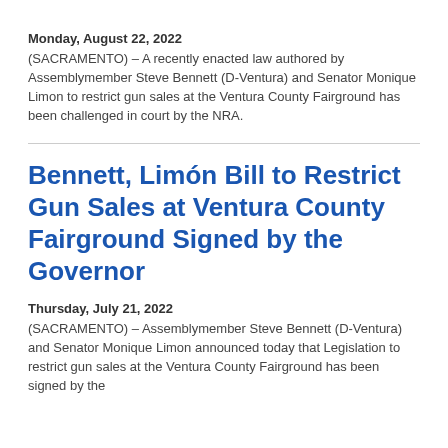Monday, August 22, 2022
(SACRAMENTO) – A recently enacted law authored by Assemblymember Steve Bennett (D-Ventura) and Senator Monique Limon to restrict gun sales at the Ventura County Fairground has been challenged in court by the NRA.
Bennett, Limón Bill to Restrict Gun Sales at Ventura County Fairground Signed by the Governor
Thursday, July 21, 2022
(SACRAMENTO) – Assemblymember Steve Bennett (D-Ventura) and Senator Monique Limon announced today that Legislation to restrict gun sales at the Ventura County Fairground has been signed by the